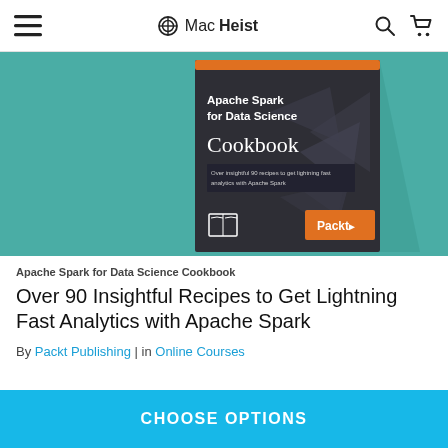MacHeist
[Figure (illustration): Book cover for Apache Spark for Data Science Cookbook on a teal background. The cover is dark grey with geometric polygon shapes, showing the title 'Apache Spark for Data Science Cookbook' and the Packt Publishing logo in orange.]
Apache Spark for Data Science Cookbook
Over 90 Insightful Recipes to Get Lightning Fast Analytics with Apache Spark
By Packt Publishing | in Online Courses
CHOOSE OPTIONS